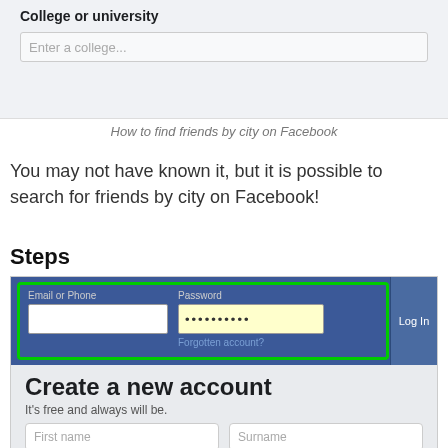[Figure (screenshot): Partial screenshot of Facebook page showing 'College or university' label and a text input field below it, on a light gray background]
How to find friends by city on Facebook
You may not have known it, but it is possible to search for friends by city on Facebook!
Steps
[Figure (screenshot): Screenshot of Facebook login bar with green highlight box around Email or Phone and Password fields, and below it the 'Create a new account' section with 'It's free and always will be.' and First name / Surname input fields]